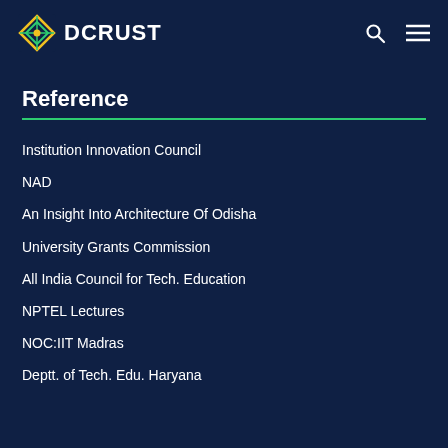DCRUST
Reference
Institution Innovation Council
NAD
An Insight Into Architecture Of Odisha
University Grants Commission
All India Council for Tech. Education
NPTEL Lectures
NOC:IIT Madras
Deptt. of Tech. Edu. Haryana